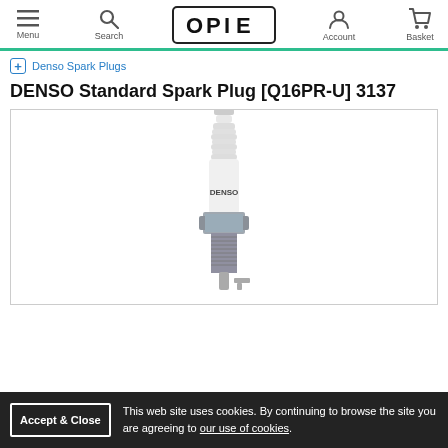Menu  Search  OPIE  Account  Basket
+ Denso Spark Plugs
DENSO Standard Spark Plug [Q16PR-U] 3137
[Figure (photo): DENSO Standard Spark Plug product photo showing a chrome and white ceramic spark plug with 'DENSO' text on the ceramic insulator, photographed on a white background]
This web site uses cookies. By continuing to browse the site you are agreeing to our use of cookies.